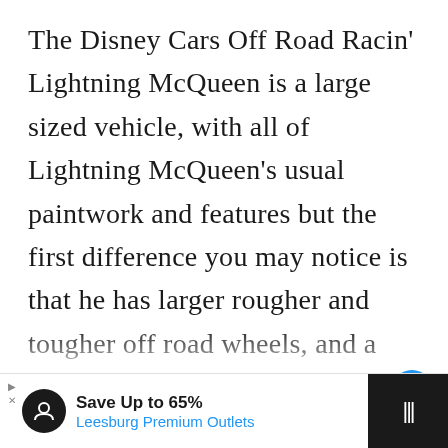The Disney Cars Off Road Racin' Lightning McQueen is a large sized vehicle, with all of Lightning McQueen's usual paintwork and features but the first difference you may notice is that he has larger rougher and tougher off road wheels, and a mud splatter design along the side. The boys found this very cool and with these oft...
[Figure (screenshot): UI overlay elements: heart/like button (blue circle with heart icon), share button (white circle with share icon), 'WHAT'S NEXT' sidebar panel showing 'Free Printable 2022 Calend...' text]
[Figure (screenshot): Advertisement banner at bottom: 'Save Up to 65% Leesburg Premium Outlets' with app icons and dark section on right]